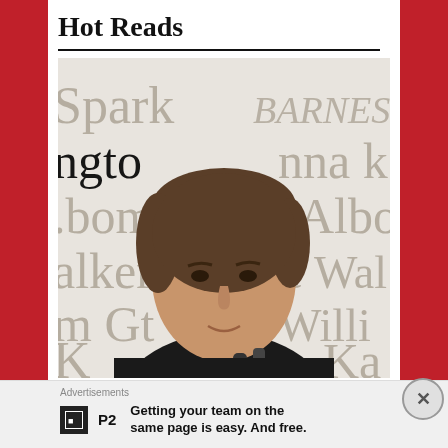Hot Reads
[Figure (photo): A man with brown hair wearing a dark jacket seated in front of a Barnes & Noble bookstore background showing partial author/book names]
Advertisements
[Figure (logo): P2 logo icon (black square with P2 text)]
Getting your team on the same page is easy. And free.